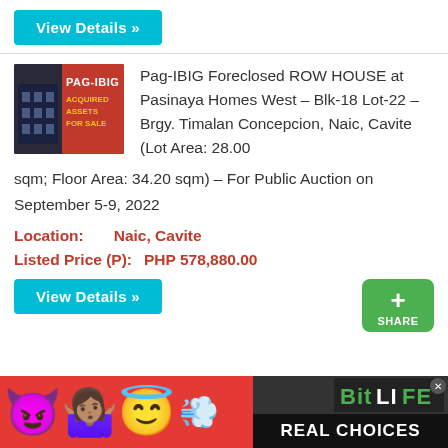View Details »
[Figure (logo): Pag-IBIG Acquired Assets For Sale logo — red background with white PAG-IBIG text and yellow ACQUIRED ASSETS FOR SALE text, building photo on left]
Pag-IBIG Foreclosed ROW HOUSE at Pasinaya Homes West – Blk-18 Lot-22 – Brgy. Timalan Concepcion, Naic, Cavite (Lot Area: 28.00 sqm; Floor Area: 34.20 sqm) – For Public Auction on September 5-9, 2022
Location: Naic, Cavite
Listed Price (P): PHP 578,880.00
View Details »
[Figure (infographic): BitLife Real Choices advertisement banner with emoji characters (devil, woman shrugging, angel, sperm) on red background]